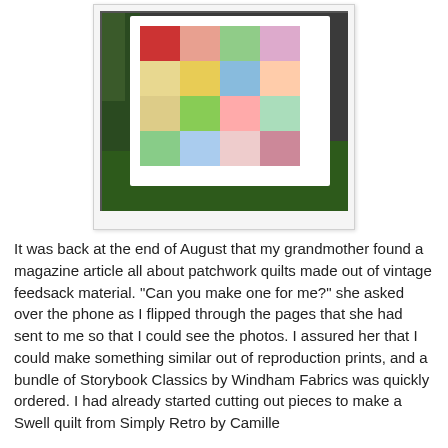[Figure (photo): A colorful patchwork quilt with pastel squares in red, orange, yellow, green, blue, pink, and light colors arranged in a grid pattern with a white border, displayed outdoors on grass with foliage in background.]
It was back at the end of August that my grandmother found a magazine article all about patchwork quilts made out of vintage feedsack material. "Can you make one for me?" she asked over the phone as I flipped through the pages that she had sent to me so that I could see the photos. I assured her that I could make something similar out of reproduction prints, and a bundle of Storybook Classics by Windham Fabrics was quickly ordered. I had already started cutting out pieces to make a Swell quilt from Simply Retro by Camille